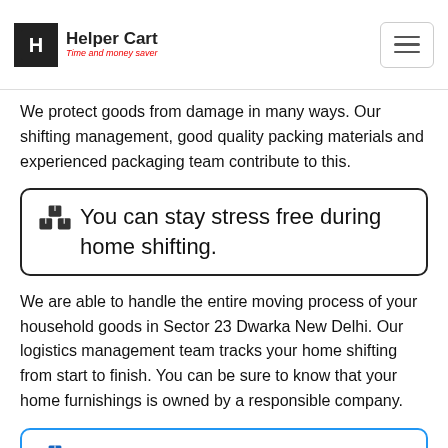Helper Cart — Time and money saver (navigation header)
We protect goods from damage in many ways. Our shifting management, good quality packing materials and experienced packaging team contribute to this.
📦 You can stay stress free during home shifting.
We are able to handle the entire moving process of your household goods in Sector 23 Dwarka New Delhi. Our logistics management team tracks your home shifting from start to finish. You can be sure to know that your home furnishings is owned by a responsible company.
📦 How to find reliable Packers and Movers in Sector 23 Dwarka